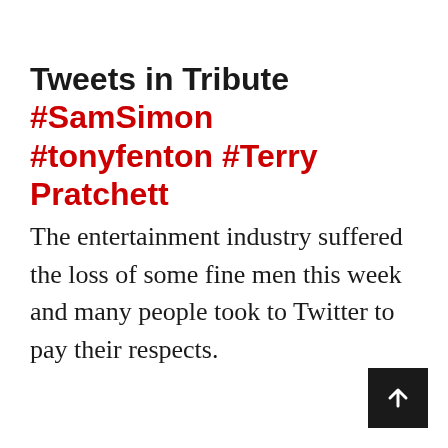Tweets in Tribute #SamSimon #tonyfenton #Terry Pratchett
The entertainment industry suffered the loss of some fine men this week and many people took to Twitter to pay their respects.